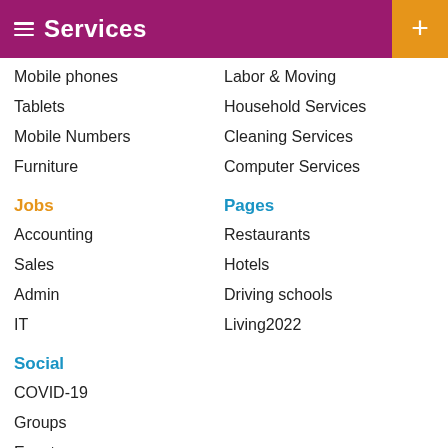Services
Mobile phones
Labor & Moving
Tablets
Household Services
Mobile Numbers
Cleaning Services
Furniture
Computer Services
Jobs
Pages
Accounting
Restaurants
Sales
Hotels
Admin
Driving schools
IT
Living2022
Social
COVID-19
Groups
Events
Forums
Videos